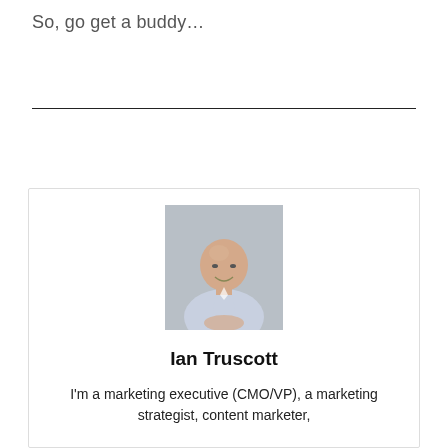So, go get a buddy…
[Figure (photo): Portrait photo of Ian Truscott, a bald man wearing a light blue/lavender shirt, sitting with hands clasped, smiling, against a grey background]
Ian Truscott
I'm a marketing executive (CMO/VP), a marketing strategist, content marketer,